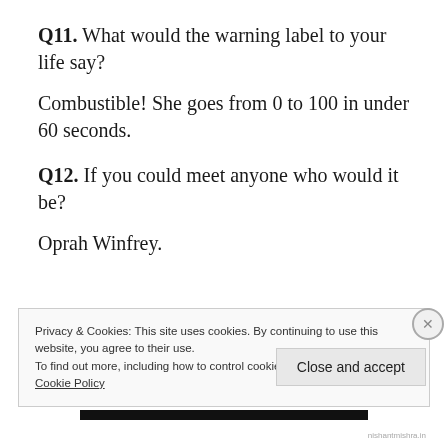Q11. What would the warning label to your life say?
Combustible! She goes from 0 to 100 in under 60 seconds.
Q12. If you could meet anyone who would it be?
Oprah Winfrey.
Privacy & Cookies: This site uses cookies. By continuing to use this website, you agree to their use.
To find out more, including how to control cookies, see here: Cookie Policy
Close and accept